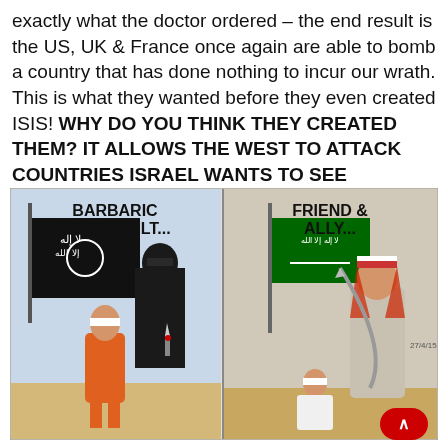exactly what the doctor ordered – the end result is the US, UK & France once again are able to bomb a country that has done nothing to incur our wrath. This is what they wanted before they even created ISIS! WHY DO YOU THINK THEY CREATED THEM? IT ALLOWS THE WEST TO ATTACK COUNTRIES ISRAEL WANTS TO SEE DESTROYED!
[Figure (illustration): A two-panel political cartoon. Left panel labeled 'BARBARIC DEATH CULT...' showing a masked figure in black holding a bloody knife standing behind a blindfolded hostage in an orange jumpsuit, with a black ISIS flag in the background. Right panel labeled 'FRIEND & ALLY...' showing a figure in traditional Arab dress holding a large sword over a kneeling blindfolded person, with a Saudi Arabian flag in the background. Dated 27/4/15.]